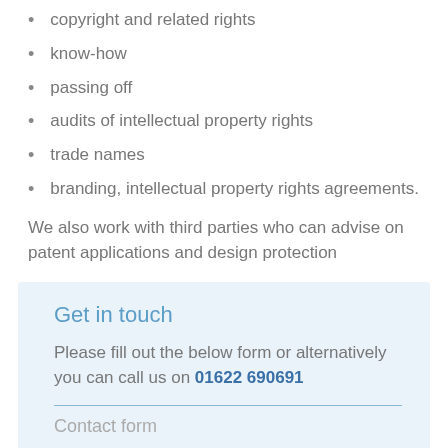copyright and related rights
know-how
passing off
audits of intellectual property rights
trade names
branding, intellectual property rights agreements.
We also work with third parties who can advise on patent applications and design protection
Get in touch
Please fill out the below form or alternatively you can call us on 01622 690691
Contact form